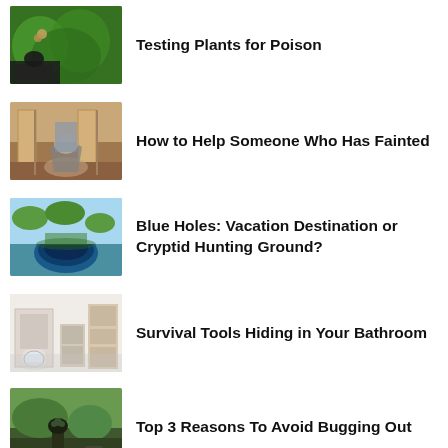Testing Plants for Poison
How to Help Someone Who Has Fainted
Blue Holes: Vacation Destination or Cryptid Hunting Ground?
Survival Tools Hiding in Your Bathroom
Top 3 Reasons To Avoid Bugging Out